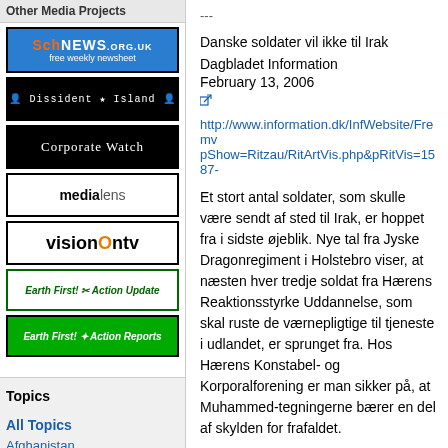Other Media Projects
[Figure (logo): SchNEWS.org.uk free weekly newsheet - blue background logo]
[Figure (logo): Dissident Island logo - black background with white text in monospace]
[Figure (logo): Corporate Watch logo - black background with white serif text]
[Figure (logo): medialens logo - white background with bold text]
[Figure (logo): visionOntv logo - white background with orange accent]
[Figure (logo): Earth First! Action Update logo - white background green text]
[Figure (logo): Earth First! Action Reports logo - green background white text]
Topics
All Topics
Afghanistan
Analysis
Animal Liberation
Anti-Nuclear
Anti-militarism
Anti-racism
---
Danske soldater vil ikke til Irak
Dagbladet Information
February 13, 2006
http://www.information.dk/InfWebsite/Fremv pShow=Ritzau/RitArtVis.php&pRitVis=1587-
Et stort antal soldater, som skulle være sendt af sted til Irak, er hoppet fra i sidste øjeblik. Nye tal fra Jyske Dragonregiment i Holstebro viser, at næsten hver tredje soldat fra Hærens Reaktionsstyrke Uddannelse, som skal ruste de værnepligtige til tjeneste i udlandet, er sprunget fra. Hos Hærens Konstabel- og Korporalforening er man sikker på, at Muhammed-tegningerne bærer en del af skylden for frafaldet.
- Jeg tror helt klart, det har betydning, når man sidder hjemme omkring